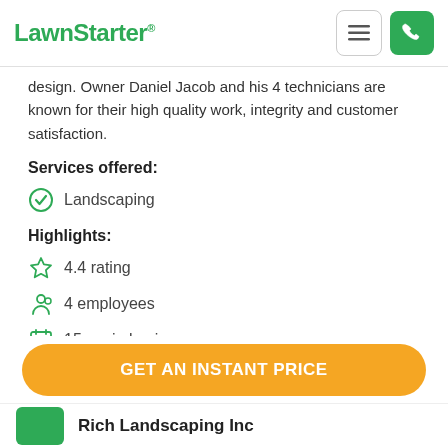LawnStarter®
design. Owner Daniel Jacob and his 4 technicians are known for their high quality work, integrity and customer satisfaction.
Services offered:
Landscaping
Highlights:
4.4 rating
4 employees
15 yrs in business
GET AN INSTANT PRICE
Rich Landscaping Inc